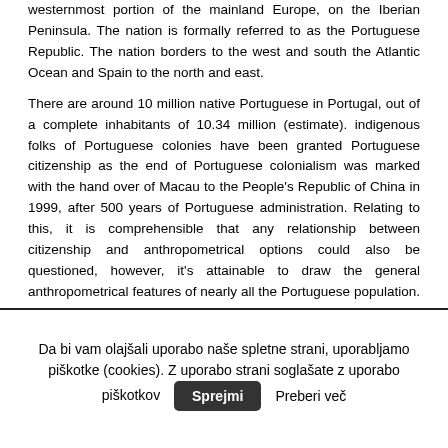westernmost portion of the mainland Europe, on the Iberian Peninsula. The nation is formally referred to as the Portuguese Republic. The nation borders to the west and south the Atlantic Ocean and Spain to the north and east.
There are around 10 million native Portuguese in Portugal, out of a complete inhabitants of 10.34 million (estimate). indigenous folks of Portuguese colonies have been granted Portuguese citizenship as the end of Portuguese colonialism was marked with the hand over of Macau to the People's Republic of China in 1999, after 500 years of Portuguese administration. Relating to this, it is comprehensible that any relationship between citizenship and anthropometrical options could also be questioned, however, it's attainable to draw the general anthropometrical features of nearly all the Portuguese population. Darkish to medium brown hair and brown and hazel eyes are predominant.
Da bi vam olajšali uporabo naše spletne strani, uporabljamo piškotke (cookies). Z uporabo strani soglašate z uporabo piškotkov